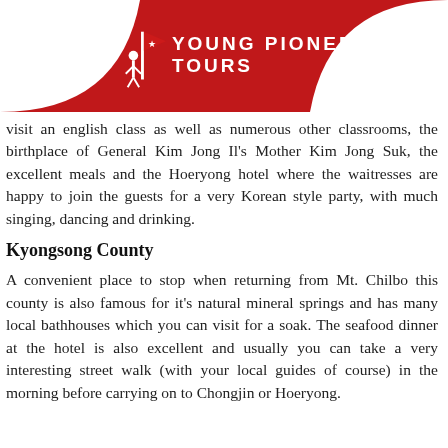Young Pioneer Tours
visit an english class as well as numerous other classrooms, the birthplace of General Kim Jong Il’s Mother Kim Jong Suk, the excellent meals and the Hoeryong hotel where the waitresses are happy to join the guests for a very Korean style party, with much singing, dancing and drinking.
Kyongsong County
A convenient place to stop when returning from Mt. Chilbo this county is also famous for it’s natural mineral springs and has many local bathhouses which you can visit for a soak. The seafood dinner at the hotel is also excellent and usually you can take a very interesting street walk (with your local guides of course) in the morning before carrying on to Chongjin or Hoeryong.